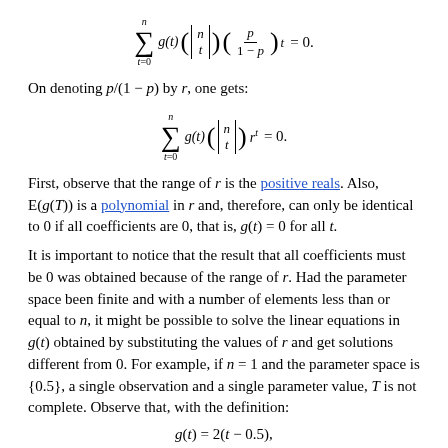On denoting p/(1 − p) by r, one gets:
First, observe that the range of r is the positive reals. Also, E(g(T)) is a polynomial in r and, therefore, can only be identical to 0 if all coefficients are 0, that is, g(t) = 0 for all t.
It is important to notice that the result that all coefficients must be 0 was obtained because of the range of r. Had the parameter space been finite and with a number of elements less than or equal to n, it might be possible to solve the linear equations in g(t) obtained by substituting the values of r and get solutions different from 0. For example, if n = 1 and the parameter space is {0.5}, a single observation and a single parameter value, T is not complete. Observe that, with the definition: